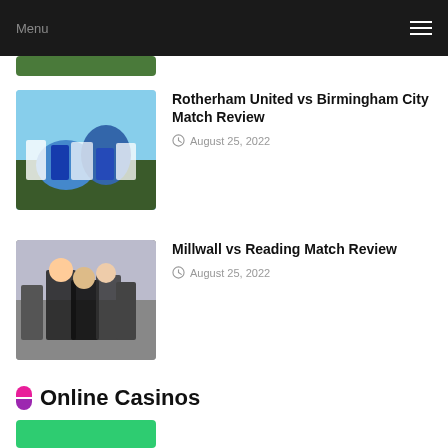Menu
[Figure (photo): Partial view of a football/sports image at top of page, partially cropped]
Rotherham United vs Birmingham City Match Review
August 25, 2022
[Figure (photo): Football players celebrating or in action, wearing blue and white, with crowd in background]
Millwall vs Reading Match Review
August 25, 2022
[Figure (photo): Football manager or referee in black coat standing on sidelines with crowd behind]
Online Casinos
[Figure (photo): Green banner partially visible at bottom of page]